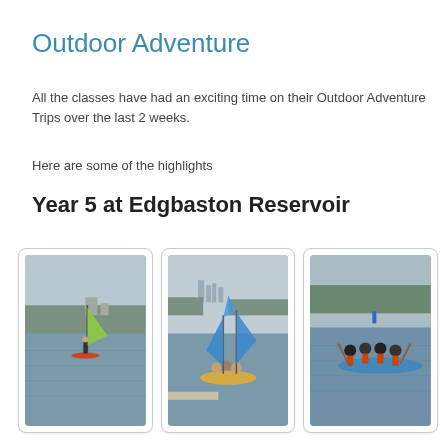Outdoor Adventure
All the classes have had an exciting time on their Outdoor Adventure Trips over the last 2 weeks.
Here are some of the highlights
Year 5 at Edgbaston Reservoir
[Figure (photo): Child windsurfing on a reservoir with trees and buildings in the background]
[Figure (photo): Two children sailing in a yellow dinghy with blue sails on the reservoir]
[Figure (photo): Group of children in life jackets paddling a large blue kayak on the reservoir]